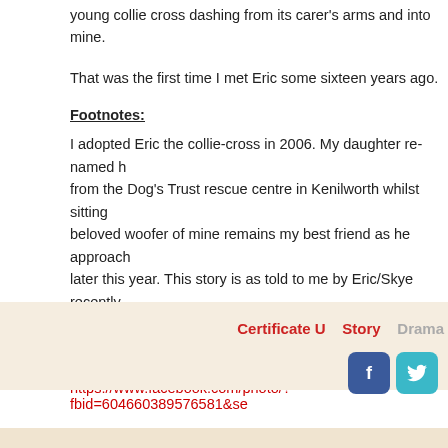young collie cross dashing from its carer's arms and into mine.
That was the first time I met Eric some sixteen years ago.
Footnotes:
I adopted Eric the collie-cross in 2006. My daughter re-named h from the Dog's Trust rescue centre in Kenilworth whilst sitting beloved woofer of mine remains my best friend as he approach later this year. This story is as told to me by Eric/Skye recently.
Image is my own and a pic of Eric aka Skye with his carer at Ke
https://www.facebook.com/photo/?fbid=604660389576581&se
Certificate U   Story   Drama
[Figure (other): Facebook and Twitter social share icons]